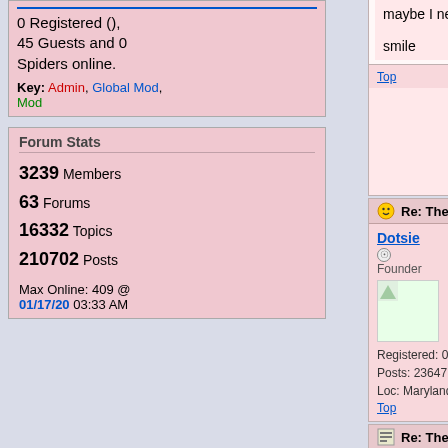0 Registered (), 45 Guests and 0 Spiders online.
Key: Admin, Global Mod, Mod
Forum Stats
3239 Members
63 Forums
16332 Topics
210702 Posts
Max Online: 409 @ 01/17/20 03:33 AM
maybe I need glasses.
smile
Top
Re: The Five People You Meet In Heaven
#72469 - 01/19/04 08:58
Dotsie
Founder
Registered: 07/09/08
Posts: 23647
Loc: Maryland
Guess we know what's been on your mind lately! [Razz]
Top
Re: The Five People You Meet In Heaven
#72470 - 01/30/04 01:50
smilingthrulife
Member
Registered: 09/08/03
Posts: 55
Loc: Baytown, Tx
Yes...a girlfriend of mine gave me this book for Christmas...A wonderful book. It makes you think about what how you affe